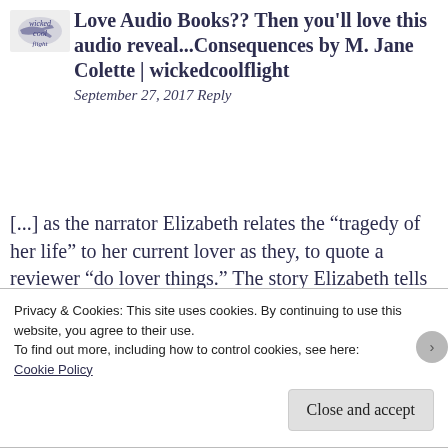[Figure (logo): wickedcoolflight blog logo — small illustrated airplane graphic]
Love Audio Books?? Then you'll love this audio reveal...Consequences by M. Jane Colette | wickedcoolflight
September 27, 2017 Reply
[...] as the narrator Elizabeth relates the “tragedy of her life” to her current lover as they, to quote a reviewer “do lover things.” The story Elizabeth tells spans 15 years. The scenes between Elizabeth and her lover are pure [...]
Privacy & Cookies: This site uses cookies. By continuing to use this website, you agree to their use.
To find out more, including how to control cookies, see here:
Cookie Policy
Close and accept